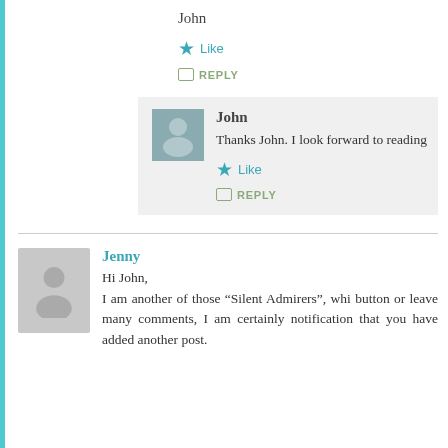John
★ Like
REPLY
John
Thanks John. I look forward to reading
★ Like
REPLY
Jenny
Hi John,
I am another of those “Silent Admirers”, whi button or leave many comments, I am certainly notification that you have added another post.